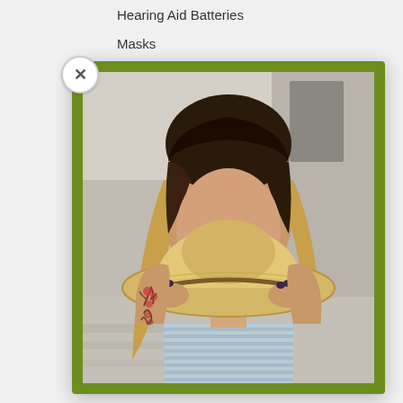Hearing Aid Batteries
Masks
[Figure (photo): A woman holding a straw hat in front of her face, revealing only her eyes above it. She is wearing a blue and white striped top and has a floral tattoo on her left arm. The photo has a green border/frame around it. A close button (X) appears in the top-left corner of the modal overlay.]